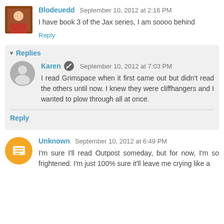Blodeuedd September 10, 2012 at 2:16 PM
I have book 3 of the Jax series, I am soooo behind
Reply
Replies
Karen September 10, 2012 at 7:03 PM
I read Grimspace when it first came out but didn't read the others until now. I knew they were cliffhangers and I wanted to plow through all at once.
Reply
Unknown September 10, 2012 at 6:49 PM
I'm sure I'll read Outpost someday, but for now, I'm so frightened. I'm just 100% sure it'll leave me crying like a